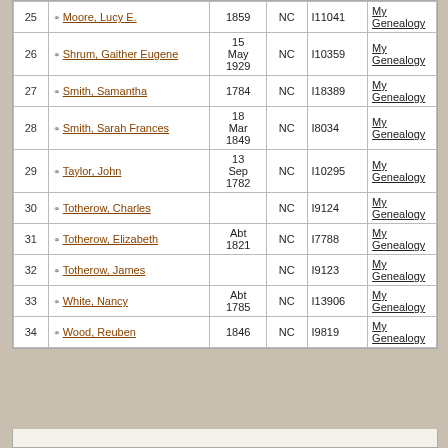| # | Name | Birth Date | Birth Place | ID | Source |
| --- | --- | --- | --- | --- | --- |
| 25 | Moore, Lucy E. | 1859 | NC | I11041 | My Genealogy |
| 26 | Shrum, Gaither Eugene | 15 May 1929 | NC | I10359 | My Genealogy |
| 27 | Smith, Samantha | 1784 | NC | I18389 | My Genealogy |
| 28 | Smith, Sarah Frances | 18 Mar 1849 | NC | I8034 | My Genealogy |
| 29 | Taylor, John | 13 Sep 1782 | NC | I10295 | My Genealogy |
| 30 | Totherow, Charles |  | NC | I9124 | My Genealogy |
| 31 | Totherow, Elizabeth | Abt 1821 | NC | I7788 | My Genealogy |
| 32 | Totherow, James |  | NC | I9123 | My Genealogy |
| 33 | White, Nancy | Abt 1785 | NC | I13906 | My Genealogy |
| 34 | Wood, Reuben | 1846 | NC | I9819 | My Genealogy |